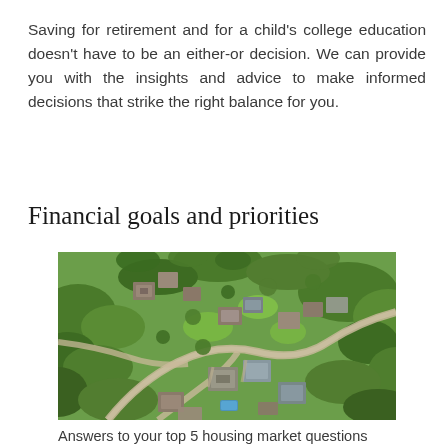Saving for retirement and for a child's college education doesn't have to be an either-or decision. We can provide you with the insights and advice to make informed decisions that strike the right balance for you.
Financial goals and priorities
[Figure (photo): Aerial photograph of a suburban neighborhood with houses, green trees, winding roads, and manicured lawns viewed from above.]
Answers to your top 5 housing market questions